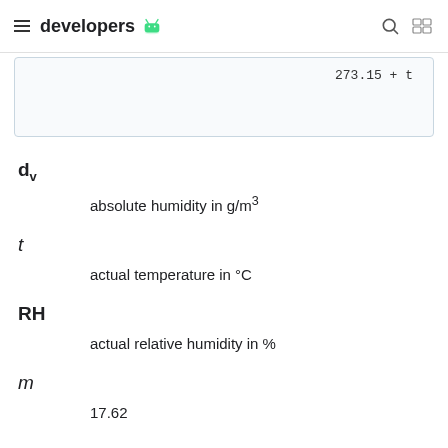developers
273.15 + t
dv
absolute humidity in g/m³
t
actual temperature in °C
RH
actual relative humidity in %
m
17.62